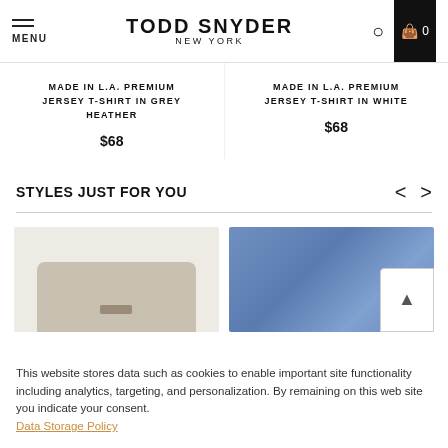MENU | TODD SNYDER NEW YORK | 0
MADE IN L.A. PREMIUM JERSEY T-SHIRT IN GREY HEATHER
$68
MADE IN L.A. PREMIUM JERSEY T-SHIRT IN WHITE
$68
STYLES JUST FOR YOU
[Figure (photo): Knit sweater product photo on light beige background]
[Figure (photo): Blue denim jeans product photo with a phone/share icon overlay]
This website stores data such as cookies to enable important site functionality including analytics, targeting, and personalization. By remaining on this web site you indicate your consent. Data Storage Policy